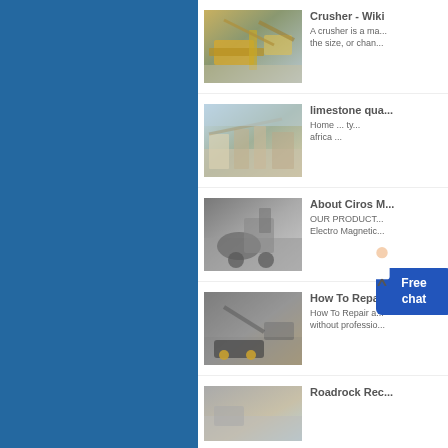[Figure (photo): Industrial crusher/conveyor machinery at a quarry site with yellow equipment]
Crusher - Wiki
A crusher is a ma... the size, or chan...
[Figure (photo): Limestone quarry processing plant with conveyors and stockpiles]
limestone qua...
Home ... ty... africa ...
[Figure (photo): About Ciros Machinery - excavator working on rock pile in black and white]
About Ciros M...
OUR PRODUCT... Electro Magnetic...
[Figure (photo): Mobile crusher equipment working at a quarry site]
How To Repai...
How To Repair a... without professio...
[Figure (photo): Roadrock Rec... - partial view of quarry/rock aggregate site]